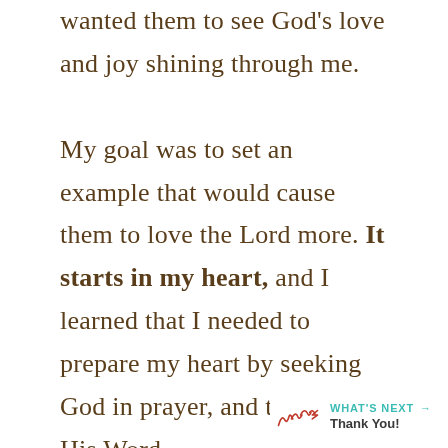wanted them to see God's love and joy shining through me.

My goal was to set an example that would cause them to love the Lord more. It starts in my heart, and I learned that I needed to prepare my heart by seeking God in prayer, and through His Word.
[Figure (infographic): Teal heart/like button icon, like count '1', share icon, and 'WHAT'S NEXT → Thank You!' branding element with cursive signature logo]